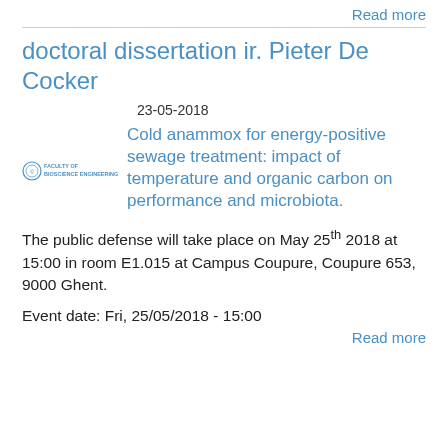Read more
doctoral dissertation ir. Pieter De Cocker
23-05-2018
[Figure (logo): Faculty or institution logo with small circular emblem and text]
Cold anammox for energy-positive sewage treatment: impact of temperature and organic carbon on performance and microbiota.
The public defense will take place on May 25th 2018 at 15:00 in room E1.015 at Campus Coupure, Coupure 653, 9000 Ghent.
Event date: Fri, 25/05/2018 - 15:00
Read more